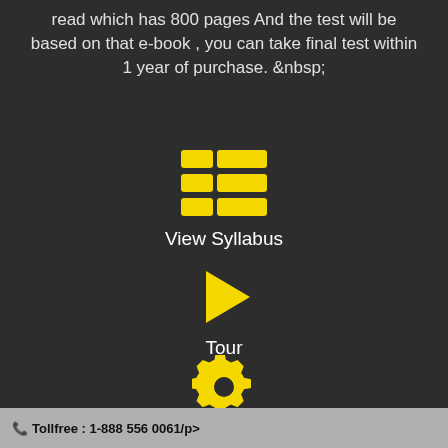read which has 800 pages And the test will be based on that e-book , you can take final test within 1 year of purchase. &nbsp;
[Figure (infographic): Yellow grid/table icon representing View Syllabus]
View Syllabus
[Figure (infographic): Yellow play button triangle icon representing Tour]
Tour
[Figure (infographic): Yellow gear/settings icon representing Create Combo]
Create Combo
Tollfree : 1-888 556 0061/p>